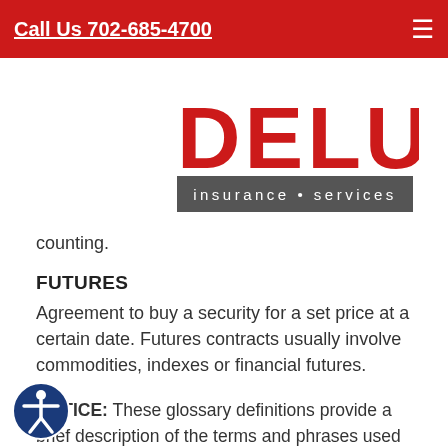Call Us 702-685-4700
[Figure (logo): Deluna Insurance Services logo with blue crescent moon and red/gray lettering]
counting.
FUTURES
Agreement to buy a security for a set price at a certain date. Futures contracts usually involve commodities, indexes or financial futures.
NOTICE: These glossary definitions provide a brief description of the terms and phrases used within the insurance industry. These definitions are not applicable in all states or for all insurance and financial products. This is not an insurance contract. Other terms, conditions and